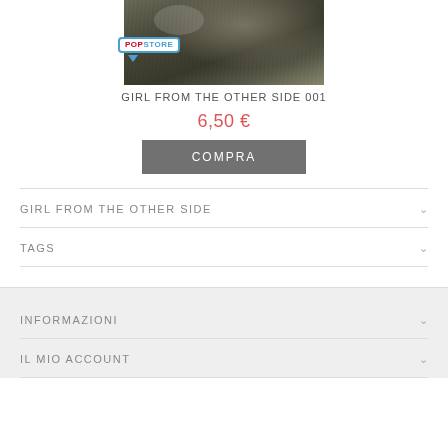[Figure (photo): Product image of Girl from the Other Side manga cover with PopStore badge overlay]
GIRL FROM THE OTHER SIDE 001
6,50 €
COMPRA
GIRL FROM THE OTHER SIDE
TAGS
INFORMAZIONI
IL MIO ACCOUNT